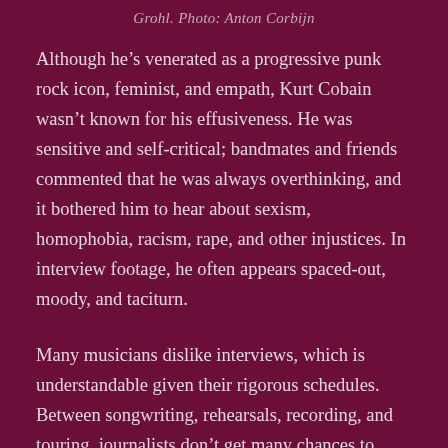Grohl. Photo: Anton Corbijn
Although he's venerated as a progressive punk rock icon, feminist, and empath, Kurt Cobain wasn't known for his effusiveness. He was sensitive and self-critical; bandmates and friends commented that he was always overthinking, and it bothered him to hear about sexism, homophobia, racism, rape, and other injustices. In interview footage, he often appears spaced-out, moody, and taciturn.
Many musicians dislike interviews, which is understandable given their rigorous schedules. Between songwriting, rehearsals, recording, and touring, journalists don't get many chances to